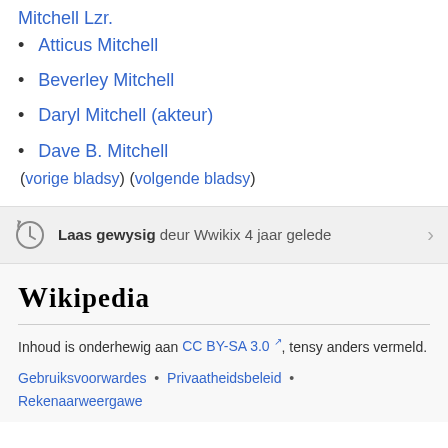Atticus Mitchell
Beverley Mitchell
Daryl Mitchell (akteur)
Dave B. Mitchell
(vorige bladsy) (volgende bladsy)
Laas gewysig deur Wwikix 4 jaar gelede
Wikipedia
Inhoud is onderhewig aan CC BY-SA 3.0, tensy anders vermeld.
Gebruiksvoorwardes • Privaatheidsbeleid • Rekenaarweergawe